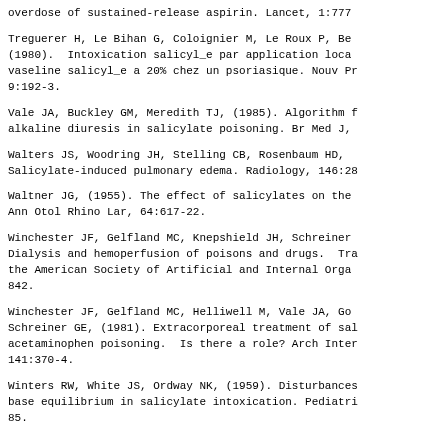overdose of sustained-release aspirin. Lancet, 1:777
Treguerer H, Le Bihan G, Coloignier M, Le Roux P, Be… (1980). Intoxication salicyl_e par application loca… vaseline salicyl_e a 20% chez un psoriasique. Nouv Pr… 9:192-3.
Vale JA, Buckley GM, Meredith TJ, (1985). Algorithm f… alkaline diuresis in salicylate poisoning. Br Med J,…
Walters JS, Woodring JH, Stelling CB, Rosenbaum HD, … Salicylate-induced pulmonary edema. Radiology, 146:28…
Waltner JG, (1955). The effect of salicylates on the… Ann Otol Rhino Lar, 64:617-22.
Winchester JF, Gelfland MC, Knepshield JH, Schreiner… Dialysis and hemoperfusion of poisons and drugs. Tr… the American Society of Artificial and Internal Orga… 842.
Winchester JF, Gelfland MC, Helliwell M, Vale JA, Go… Schreiner GE, (1981). Extracorporeal treatment of sa… acetaminophen poisoning. Is there a role? Arch Inte… 141:370-4.
Winters RW, White JS, Ordway NK, (1959). Disturbances… base equilibrium in salicylate intoxication. Pediatr… 85.